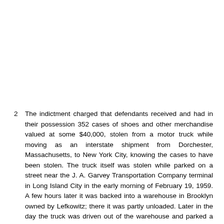2  The indictment charged that defendants received and had in their possession 352 cases of shoes and other merchandise valued at some $40,000, stolen from a motor truck while moving as an interstate shipment from Dorchester, Massachusetts, to New York City, knowing the cases to have been stolen. The truck itself was stolen while parked on a street near the J. A. Garvey Transportation Company terminal in Long Island City in the early morning of February 19, 1959. A few hours later it was backed into a warehouse in Brooklyn owned by Lefkowitz; there it was partly unloaded. Later in the day the truck was driven out of the warehouse and parked a few blocks away where an F.B.I. agent found it. Two days later F.B.I. agents interviewed Lefkowitz. He freely disclosed the receipt of the merchandise, claimed that this had been preceded by a personal inquiry and a telephone call from a man theretofore unknown to him and still known only as 'Lou,' and contended, as he did later at the